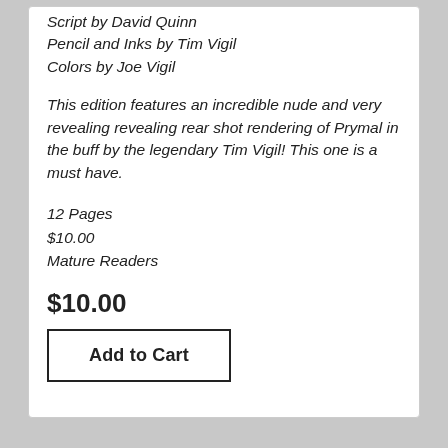Script by David Quinn
Pencil and Inks by Tim Vigil
Colors by Joe Vigil
This edition features an incredible nude and very revealing revealing rear shot rendering of Prymal in the buff by the legendary Tim Vigil! This one is a must have.
12 Pages
$10.00
Mature Readers
$10.00
Add to Cart